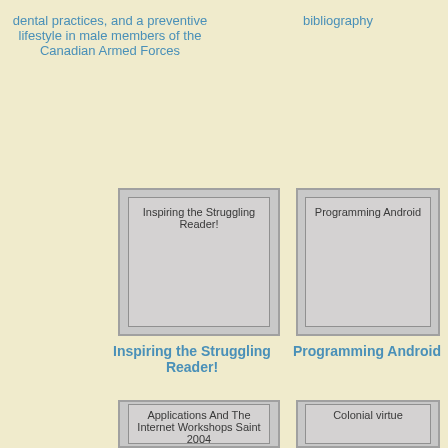dental practices, and a preventive lifestyle in male members of the Canadian Armed Forces
bibliography
[Figure (illustration): Book cover placeholder for 'Inspiring the Struggling Reader!']
[Figure (illustration): Book cover placeholder for 'Programming Android']
Inspiring the Struggling Reader!
Programming Android
[Figure (illustration): Book cover placeholder for 'Applications And The Internet Workshops Saint 2004']
[Figure (illustration): Book cover placeholder for 'Colonial virtue']